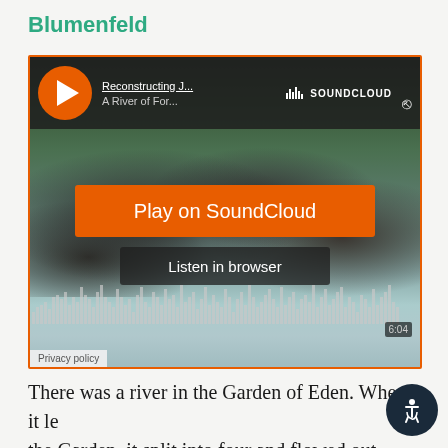Blumenfeld
[Figure (screenshot): SoundCloud embedded player showing 'Reconstructing J...' / 'A River of For...' with a river/rocks background image. Orange 'Play on SoundCloud' button, 'Listen in browser' button, waveform visualization showing 6:04 duration, and Privacy policy link.]
There was a river in the Garden of Eden. When it le the Garden, it split into four and flowed out into the world so that we would always be connected to the